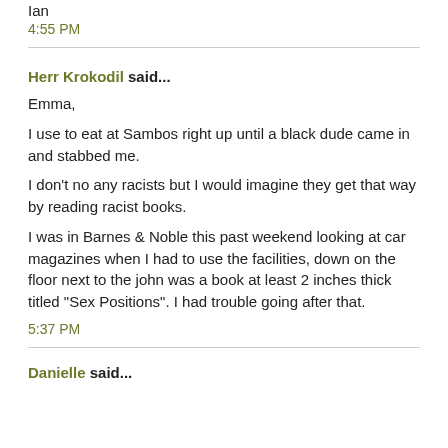Ian
4:55 PM
Herr Krokodil said...
Emma,
I use to eat at Sambos right up until a black dude came in and stabbed me.
I don't no any racists but I would imagine they get that way by reading racist books.
I was in Barnes & Noble this past weekend looking at car magazines when I had to use the facilities, down on the floor next to the john was a book at least 2 inches thick titled "Sex Positions". I had trouble going after that.
5:37 PM
Danielle said...